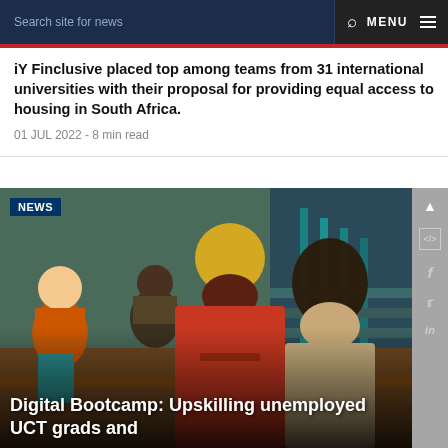Search site for news   🔍   MENU ≡
iY Finclusive placed top among teams from 31 international universities with their proposal for providing equal access to housing in South Africa.
01 JUL 2022 - 8 min read
[Figure (photo): Students sitting together outdoors, two young men in foreground looking at something, one wearing orange-red hoodie and yellow beanie, another in light jacket; two female students sitting in background near stairs]
NEWS
Digital Bootcamp: Upskilling unemployed UCT grads and